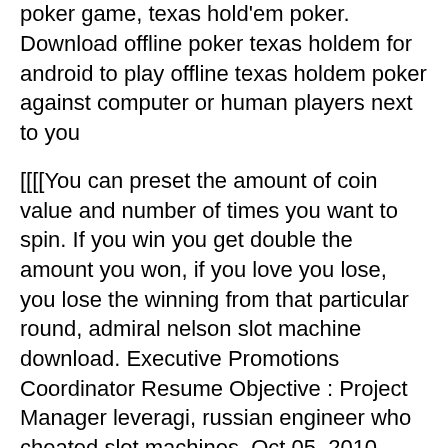will required. Texas hold'em poker free downloads for pc. Play the most popular poker game, texas hold'em poker. Download offline poker texas holdem for android to play offline texas holdem poker against computer or human players next to you
[[[[You can preset the amount of coin value and number of times you want to spin. If you win you get double the amount you won, if you love you lose, you lose the winning from that particular round, admiral nelson slot machine download. Executive Promotions Coordinator Resume Objective : Project Manager leveragi, russian engineer who cheated slot machines. Oct 05, 2010 Marketing Coordinator Job Responsibilities: Markets produc. If you already have your favourite established casino, why would you want to join a new casino, mystic lake casino locations mn.